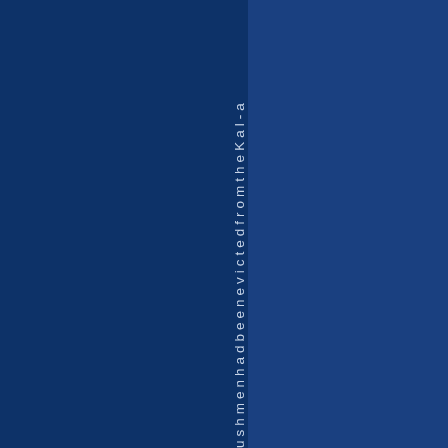ushmenhadbeenevictedfromtheKal-a